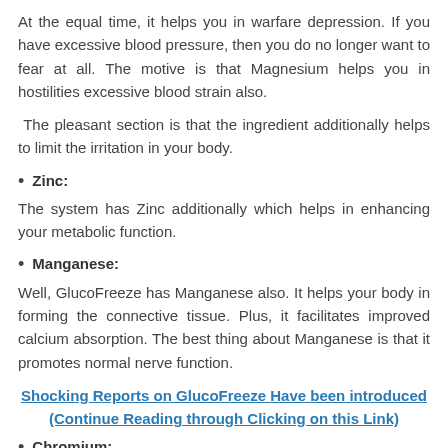At the equal time, it helps you in warfare depression. If you have excessive blood pressure, then you do no longer want to fear at all. The motive is that Magnesium helps you in hostilities excessive blood strain also.
The pleasant section is that the ingredient additionally helps to limit the irritation in your body.
Zinc:
The system has Zinc additionally which helps in enhancing your metabolic function.
Manganese:
Well, GlucoFreeze has Manganese also. It helps your body in forming the connective tissue. Plus, it facilitates improved calcium absorption. The best thing about Manganese is that it promotes normal nerve function.
Shocking Reports on GlucoFreeze Have been introduced (Continue Reading through Clicking on this Link)
Chromium:
One of the main ingredients of this supplement is Chromium. It helps in losing weight. Plus, it also helps in building up the